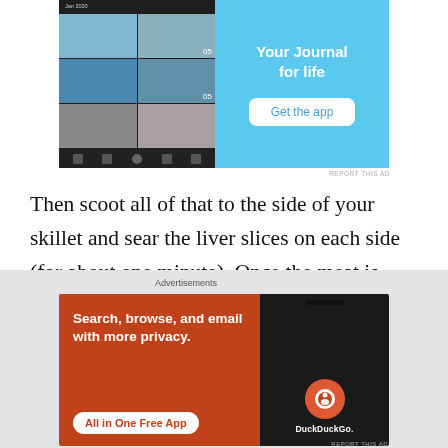[Figure (screenshot): Mobile app advertisement with blue background showing 'Your Journal for life' and a 'Get the app' button, with phone screenshots on the left]
Then scoot all of that to the side of your skillet and sear the liver slices on each side (for about one minute). Once the meat is seared on both sides, pile the onions, mushrooms and bacon on top of the liver, turn the heat down to medium and let the meat cook through for 5-10
[Figure (screenshot): DuckDuckGo advertisement with orange/red background saying 'Search, browse, and email with more privacy. All in One Free App' with DuckDuckGo logo on a phone mockup]